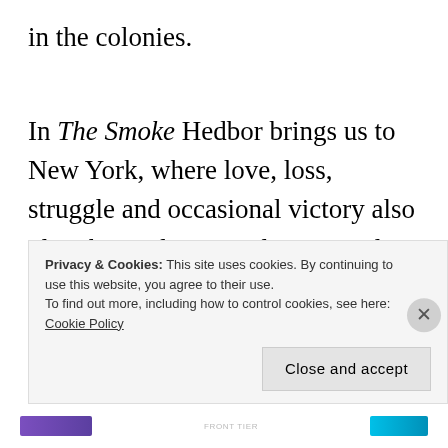in the colonies.
In The Smoke Hedbor brings us to New York, where love, loss, struggle and occasional victory also play their roles, introducing readers to the indigenous Tuscarora, members of the larger Iroquois Confederation. Caught between their tribal loyalties and
Privacy & Cookies: This site uses cookies. By continuing to use this website, you agree to their use.
To find out more, including how to control cookies, see here: Cookie Policy
Close and accept